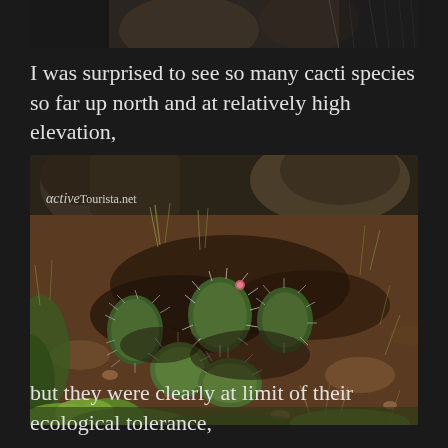[Figure (photo): Partial view of cacti and rocky terrain at the top of the page, cropped]
I was surprised to see so many cacti species so far up north and at relatively high elevation,
[Figure (photo): Close-up photograph of prickly pear cacti growing among rocks and dry grass on a hillside, with an ActiveTourista.net watermark in the upper left corner]
but they were clearly at limit of their ecological tolerance,